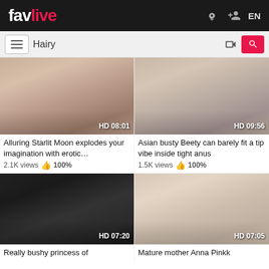favlive — EN
Hairy [search bar]
[Figure (screenshot): Video thumbnail showing nude woman on bed, HD 08:01]
Alluring Starlit Moon explodes your imagination with erotic…
2.1K views 👍 100%
[Figure (screenshot): Video thumbnail showing nude woman, HD 09:56]
Asian busty Beety can barely fit a tip vibe inside tight anus
1.5K views 👍 100%
[Figure (screenshot): Video thumbnail showing woman with glasses, HD 07:20]
Really bushy princess of
[Figure (screenshot): Video thumbnail showing close-up, HD 07:05]
Mature mother Anna Pinkk